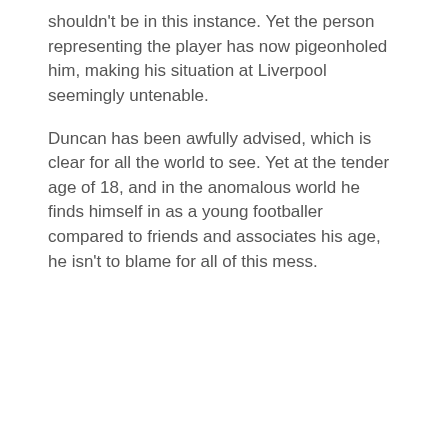shouldn't be in this instance. Yet the person representing the player has now pigeonholed him, making his situation at Liverpool seemingly untenable.
Duncan has been awfully advised, which is clear for all the world to see. Yet at the tender age of 18, and in the anomalous world he finds himself in as a young footballer compared to friends and associates his age, he isn't to blame for all of this mess.